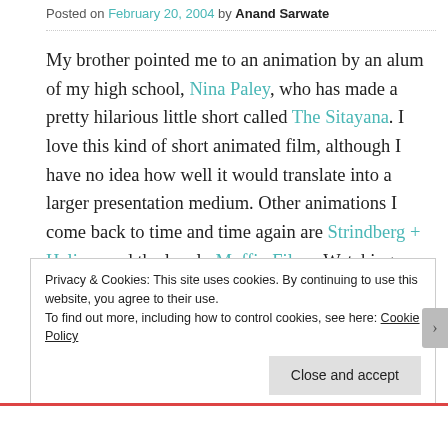Posted on February 20, 2004 by Anand Sarwate
My brother pointed me to an animation by an alum of my high school, Nina Paley, who has made a pretty hilarious little short called The Sitayana. I love this kind of short animated film, although I have no idea how well it would translate into a larger presentation medium. Other animations I come back to time and time again are Strindberg + Helium and the lovely Muffin Films. Watching a few is a great way to wind up day, wind down a day, or
Privacy & Cookies: This site uses cookies. By continuing to use this website, you agree to their use.
To find out more, including how to control cookies, see here: Cookie Policy
Close and accept